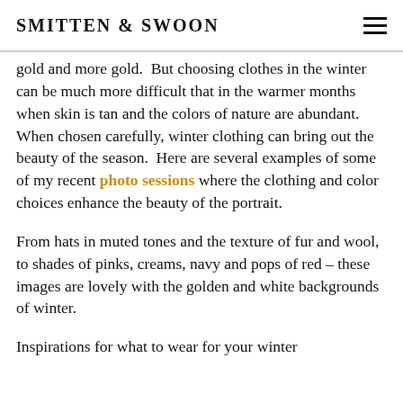SMITTEN & SWOON
gold and more gold.  But choosing clothes in the winter can be much more difficult that in the warmer months when skin is tan and the colors of nature are abundant.  When chosen carefully, winter clothing can bring out the beauty of the season.  Here are several examples of some of my recent photo sessions where the clothing and color choices enhance the beauty of the portrait.
From hats in muted tones and the texture of fur and wool, to shades of pinks, creams, navy and pops of red – these images are lovely with the golden and white backgrounds of winter.
Inspirations for what to wear for your winter